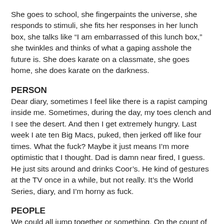She goes to school, she fingerpaints the universe, she responds to stimuli, she fits her responses in her lunch box, she talks like “I am embarrassed of this lunch box,” she twinkles and thinks of what a gaping asshole the future is. She does karate on a classmate, she goes home, she does karate on the darkness.
PERSON
Dear diary, sometimes I feel like there is a rapist camping inside me. Sometimes, during the day, my toes clench and I see the desert. And then I get extremely hungry. Last week I ate ten Big Macs, puked, then jerked off like four times. What the fuck? Maybe it just means I’m more optimistic that I thought. Dad is damn near fired, I guess. He just sits around and drinks Coor’s. He kind of gestures at the TV once in a while, but not really. It’s the World Series, diary, and I’m horny as fuck.
PEOPLE
We could all jump together or something. On the count of whatever. It doesn’t matter.
“Right now my Ts look like running gingerbread men.”